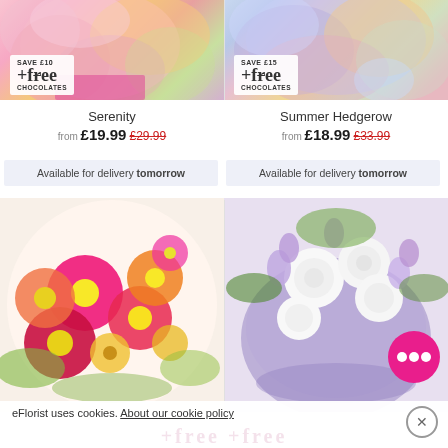[Figure (photo): Left flower arrangement - pink roses, orange roses, pink spray flowers with pink wrapping. Save £10 +free chocolates badge.]
[Figure (photo): Right flower arrangement - purple iris, pink alstroemeria, yellow flowers in glass vase. Save £15 +free chocolates badge.]
Serenity
Summer Hedgerow
from £19.99 £29.99
from £18.99 £33.99
Available for delivery tomorrow
Available for delivery tomorrow
[Figure (photo): Bottom left flower arrangement - bright pink, orange, red gerbera daisies, yellow flowers, vibrant colorful bouquet.]
[Figure (photo): Bottom right flower arrangement - white roses, purple freesia, lavender flowers with purple wrapping and green foliage.]
eFlorist uses cookies. About our cookie policy